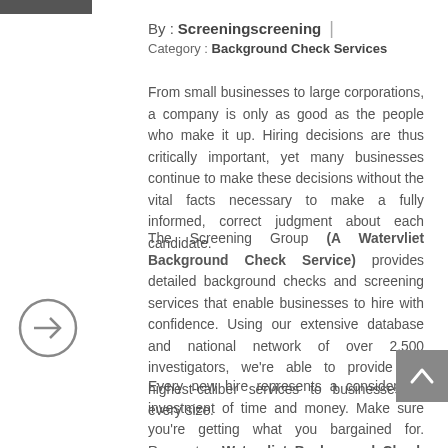By : Screeningscreening | Category : Background Check Services
From small businesses to large corporations, a company is only as good as the people who make it up. Hiring decisions are thus critically important, yet many businesses continue to make these decisions without the vital facts necessary to make a fully informed, correct judgment about each candidate.
The Screening Group (A Watervliet Background Check Service) provides detailed background checks and screening services that enable businesses to hire with confidence. Using our extensive database and national network of over 2,500 investigators, we're able to provide the highest-caliber services to businesses of every size.
Every new hire represents a considerable investment of time and money. Make sure you're getting what you bargained for. Request a Watervliet Background Check Service and